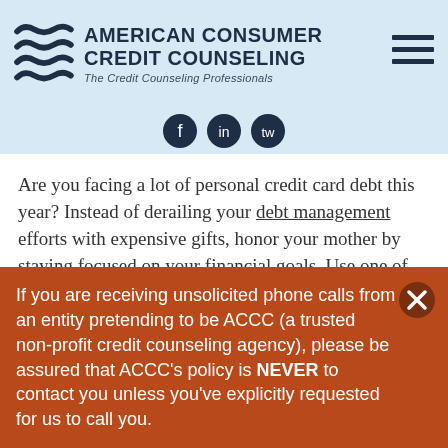American Consumer Credit Counseling — The Credit Counseling Professionals
[Figure (logo): American Consumer Credit Counseling logo with wave graphic and hamburger menu icon]
Are you facing a lot of personal credit card debt this year? Instead of derailing your debt management efforts with expensive gifts, honor your mother by staying focused on your financial goals. Use one of these no cost Mother's Day gift ideas to celebrate the mom(s) in your life.
If you are receiving unsolicited phone calls from an entity pretending to be ACCC (a trusted non-profit credit counseling agency), please be assured that ACCC's policy is NEVER to contact you unless you've explicitly requested for us to call you.